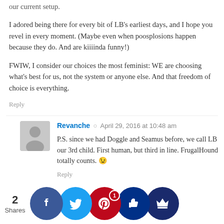our current setup.
I adored being there for every bit of LB's earliest days, and I hope you revel in every moment. (Maybe even when poosplosions happen because they do. And are kiiiinda funny!)
FWIW, I consider our choices the most feminist: WE are choosing what's best for us, not the system or anyone else. And that freedom of choice is everything.
Reply
Revanche · April 29, 2016 at 10:48 am
P.S. since we had Doggle and Seamus before, we call LB our 3rd child. First human, but third in line. FrugalHound totally counts. 😉
Reply
Lena · April 29, 2016 at 10:47 am
You are singing my song's I quit my teaching job when tiny Eivy came along because a) I couldn't rip myself away from her and b) I'm pretty sure childcare costs more than I was making. H...at fre...owed...evelo... photography care...which fit pe...ectly (and s...ades now th...